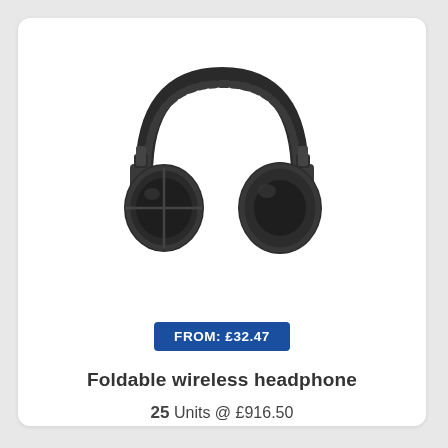[Figure (photo): Black foldable wireless over-ear headphones photographed on white background]
FROM: £32.47
Foldable wireless headphone
25 Units @ £916.50